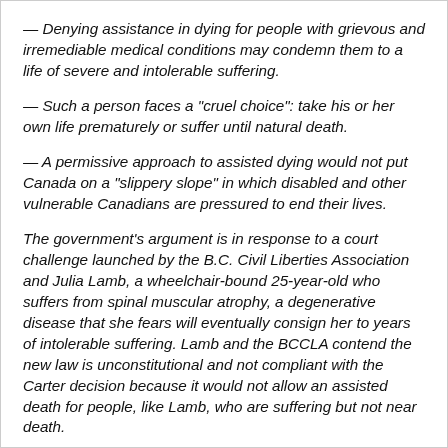— Denying assistance in dying for people with grievous and irremediable medical conditions may condemn them to a life of severe and intolerable suffering.
— Such a person faces a "cruel choice": take his or her own life prematurely or suffer until natural death.
— A permissive approach to assisted dying would not put Canada on a "slippery slope" in which disabled and other vulnerable Canadians are pressured to end their lives.
The government's argument is in response to a court challenge launched by the B.C. Civil Liberties Association and Julia Lamb, a wheelchair-bound 25-year-old who suffers from spinal muscular atrophy, a degenerative disease that she fears will eventually consign her to years of intolerable suffering. Lamb and the BCCLA contend the new law is unconstitutional and not compliant with the Carter decision because it would not allow an assisted death for people, like Lamb, who are suffering but not near death.